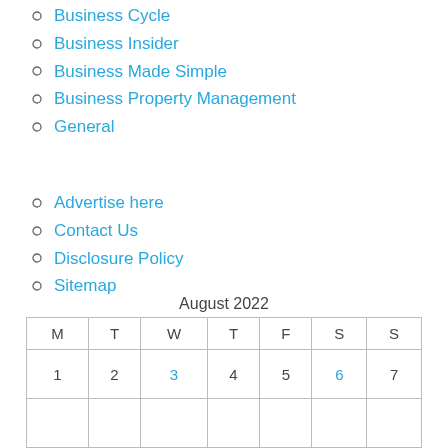Business Cycle
Business Insider
Business Made Simple
Business Property Management
General
Advertise here
Contact Us
Disclosure Policy
Sitemap
| M | T | W | T | F | S | S |
| --- | --- | --- | --- | --- | --- | --- |
| 1 | 2 | 3 | 4 | 5 | 6 | 7 |
|  |  |  |  |  |  |  |